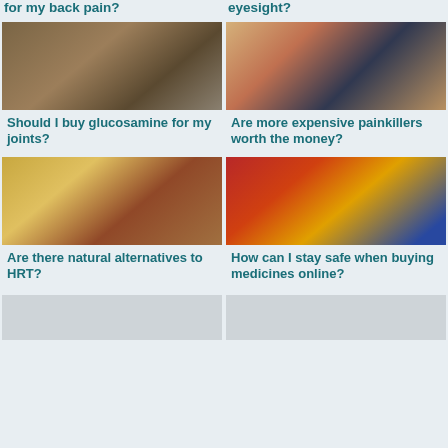for my back pain?
eyesight?
[Figure (photo): A man in a white lab coat (doctor) looking at the camera, against a stone wall background]
Should I buy glucosamine for my joints?
[Figure (photo): A woman in a pharmacy holding products, shelves with medicines behind her]
Are more expensive painkillers worth the money?
[Figure (photo): A blonde woman sitting at a table in a cafe, eating from a bowl, talking on the phone]
Are there natural alternatives to HRT?
[Figure (photo): A woman with curly hair and a red headband standing next to red lockers, holding a bag]
How can I stay safe when buying medicines online?
[Figure (photo): Gray placeholder image (bottom left)]
[Figure (photo): Gray placeholder image (bottom right)]